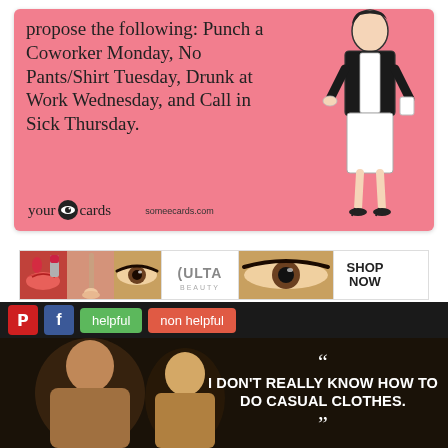[Figure (illustration): A someecards/yourEcards meme card with pink background. Text reads: 'propose the following: Punch a Coworker Monday, No Pants/Shirt Tuesday, Drunk at Work Wednesday, and Call in Sick Thursday.' with a line drawing of a professional woman and the yourEcards / someecards.com logo.]
[Figure (photo): ULTA Beauty advertisement banner with makeup images (lips, brush, eye, ULTA logo, eye closeup) and SHOP NOW button.]
[Figure (screenshot): Social sharing bar with Pinterest (P), Facebook (f), 'helpful' (green), and 'non helpful' (orange/red) buttons on dark background.]
[Figure (photo): Dark photo of two people with overlaid quote text: open-quote, 'I DON'T REALLY KNOW HOW TO DO CASUAL CLOTHES.', close-quote.]